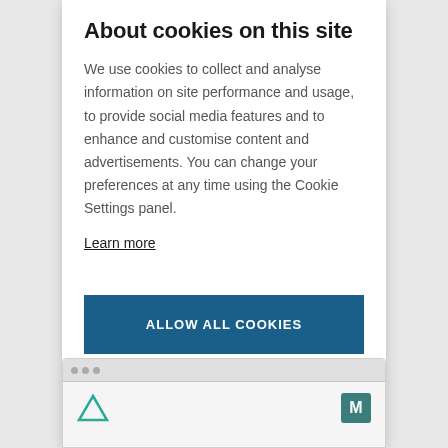About cookies on this site
We use cookies to collect and analyse information on site performance and usage, to provide social media features and to enhance and customise content and advertisements. You can change your preferences at any time using the Cookie Settings panel.
Learn more
ALLOW ALL COOKIES
COOKIE SETTINGS
[Figure (screenshot): Browser window mock with triangle logo and M badge]